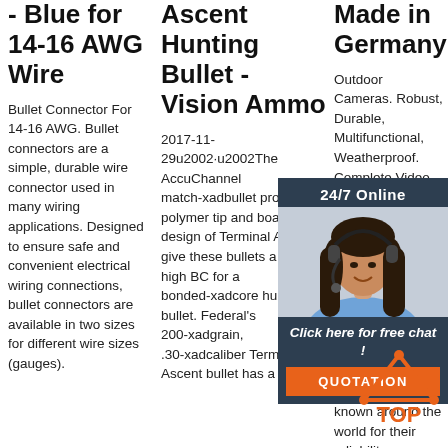- Blue for 14-16 AWG Wire
Bullet Connector For 14-16 AWG. Bullet connectors are a simple, durable wire connector used in many wiring applications. Designed to ensure safe and convenient electrical wiring connections, bullet connectors are available in two sizes for different wire sizes (gauges).
Ascent Hunting Bullet - Vision Ammo
2017-11-29u2002·u2002The AccuChannel match-xadbullet profile, polymer tip and boattail design of Terminal Ascent give these bullets a very high BC for a bonded-xadcore hunting bullet. Federal's 200-xadgrain, .30-xadcaliber Terminal Ascent bullet has a G1
Made in Germany
Outdoor Cameras. Robust, Durable, Multifunctional, Weatherproof. Complete Video Solutions For Everyone Who Wants More Than Just Standard Security Solutions. From Antarctica to tropical swamps of Florida, MOBOTIX cameras are known around the world for their reliability, even
[Figure (photo): Chat widget overlay showing a woman with headset (24/7 Online support), with 'Click here for free chat!' text and QUOTATION button]
[Figure (logo): TOP logo with orange triangle/arrow icon and orange text 'TOP']